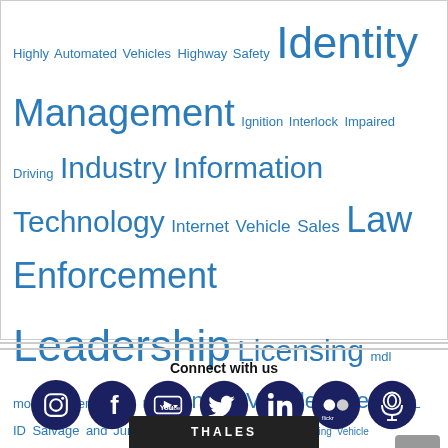Highly Automated Vehicles Highway Safety Identity Management Ignition Interlock Impaired Driving Industry Information Technology Internet Vehicle Sales Law Enforcement Leadership Licensing mdl mobile driver license News Online Vehicle Sales REAL ID Salvage and Junk Vehicles Self-Driving Car Self-Driving Vehicle Technology Vehicle Safety and Inspections Vehicle Title Vehicle Title & Registration
Connect with us
[Figure (infographic): Row of 7 social media icons in dark navy circles: Instagram, Facebook, YouTube, Twitter, LinkedIn, Flickr, and a podcast/microphone icon]
[Figure (other): Gray scroll-to-top button with upward chevron arrow, positioned bottom right]
[Figure (other): Advertisement banner showing THALES logo/text at bottom of page]